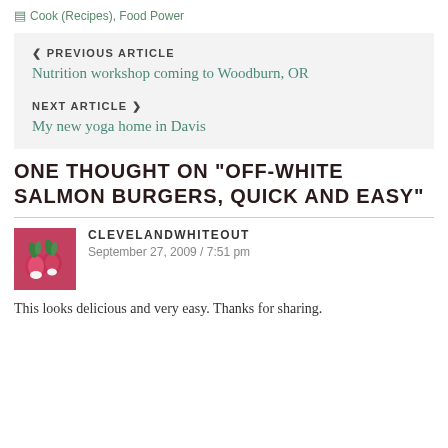Cook (Recipes), Food Power
PREVIOUS ARTICLE
Nutrition workshop coming to Woodburn, OR
NEXT ARTICLE
My new yoga home in Davis
ONE THOUGHT ON "OFF-WHITE SALMON BURGERS, QUICK AND EASY"
CLEVELANDWHITEOUT
September 27, 2009 / 7:51 pm
This looks delicious and very easy. Thanks for sharing.